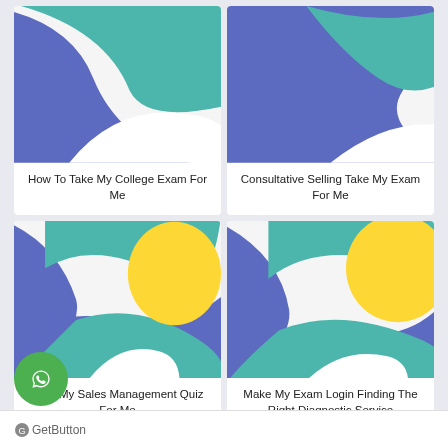[Figure (illustration): Abstract colorful blob illustration with blue, teal, and white shapes for card 1]
How To Take My College Exam For Me
[Figure (illustration): Abstract colorful blob illustration with blue, teal, and white shapes for card 2]
Consultative Selling Take My Exam For Me
[Figure (illustration): Abstract colorful blob illustration with blue, teal, and yellow shapes for card 3]
Take My Sales Management Quiz For Me
[Figure (illustration): Abstract colorful blob illustration with blue, teal, and yellow shapes for card 4]
Make My Exam Login Finding The Right Diagnostic Service